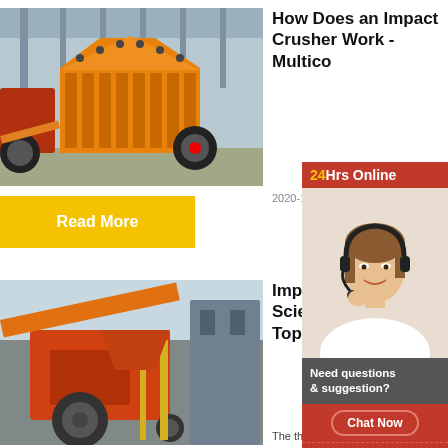[Figure (photo): Orange impact crusher machine in an industrial factory setting]
How Does an Impact Crusher Work - Multico
2020-12-2   Impact crush...
Read More
[Figure (photo): Orange industrial crusher machinery at a mining or processing site]
Impact an overview Science Topics
The three t...
[Figure (photo): Customer service representative with headset - 24Hrs Online sidebar with chat options]
24Hrs Online
Need questions & suggestion?
Chat Now
Enquiry
limingjlmofen